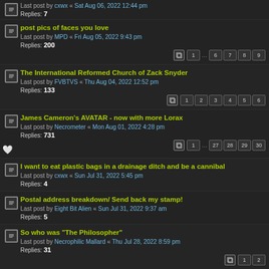Last post by cxwx « Sat Aug 06, 2022 12:44 pm
Replies: 7
post pics of faces you love
Last post by MPD « Fri Aug 05, 2022 9:43 pm
Replies: 200
Pages: 1 ... 6 7 8 9
The International Reformed Church of Zack Snyder
Last post by FVBTVS « Thu Aug 04, 2022 12:52 pm
Replies: 133
Pages: 1 2 3 4 5 6
James Cameron's AVATAR - now with more Lorax
Last post by Necrometer « Mon Aug 01, 2022 4:28 pm
Replies: 731
Pages: 1 ... 27 28 29 30
I want to eat plastic bags in a drainage ditch and be a cannibal
Last post by cxwx « Sun Jul 31, 2022 5:45 pm
Replies: 4
Postal address breakdown/ Send back my stamp!
Last post by Eight Bit Alien « Sun Jul 31, 2022 9:37 am
Replies: 5
So who was "The Philosopher"
Last post by Necrophilic Mallard « Thu Jul 28, 2022 8:59 pm
Replies: 31
Pages: 1 2
Harely Flanagan shivs the New-Mags;
Last post by Foot Foot « Tue Jul 26, 2022 1:15 pm
Replies: 135
Pages: 1 2 3 4 5 6
Everybody here hates Pantera